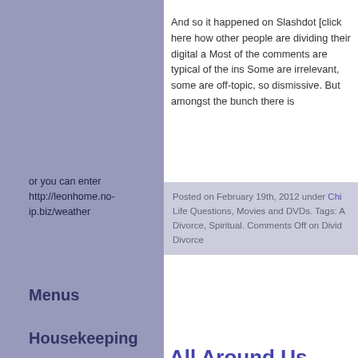or you can enter http://leonhome.no-ip.biz/weather
Menus
Housekeeping
Log in
Entries feed
Comments feed
WordPress.org
And so it happened on Slashdot [click here how other people are dividing their digital a Most of the comments are typical of the ins Some are irrelevant, some are off-topic, so dismissive. But amongst the bunch there is
Posted on February 19th, 2012 under Chi Life Questions, Movies and DVDs. Tags: A Divorce, Spiritual. Comments Off on Divid Divorce
All Around Us
While I was browsing through some old ph of our 1996 Sani Pass trip, I came across t they tell an interesting story. The story of m call the two plants my two farewell ("I will s first one, on the left, is [...]
Posted on July 21st, 2011 under Life Que Views. Comments Off on All Around Us
Copyright © 2010-2022 Leon's Random Ram Webdesign by BytesForAll W